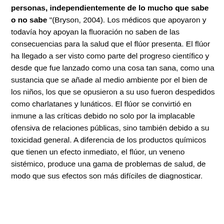personas, independientemente de lo mucho que sabe o no sabe "(Bryson, 2004). Los médicos que apoyaron y todavía hoy apoyan la fluoración no saben de las consecuencias para la salud que el flúor presenta. El flúor ha llegado a ser visto como parte del progreso científico y desde que fue lanzado como una cosa tan sana, como una sustancia que se añade al medio ambiente por el bien de los niños, los que se opusieron a su uso fueron despedidos como charlatanes y lunáticos. El flúor se convirtió en inmune a las críticas debido no solo por la implacable ofensiva de relaciones públicas, sino también debido a su toxicidad general. A diferencia de los productos químicos que tienen un efecto inmediato, el flúor, un veneno sistémico, produce una gama de problemas de salud, de modo que sus efectos son más difíciles de diagnosticar.